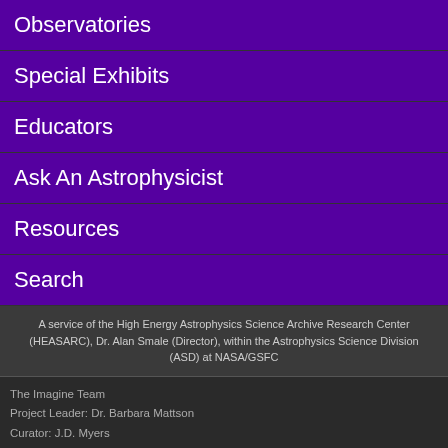Observatories
Special Exhibits
Educators
Ask An Astrophysicist
Resources
Search
A service of the High Energy Astrophysics Science Archive Research Center (HEASARC), Dr. Alan Smale (Director), within the Astrophysics Science Division (ASD) at NASA/GSFC
The Imagine Team
Project Leader: Dr. Barbara Mattson
Curator: J.D. Myers
NASA Official: Phil Newman
› Privacy Policy & Important Notices
› Contact NASA
› Contact Us
› Page Last Updated: Thu, Oct 22, 2020